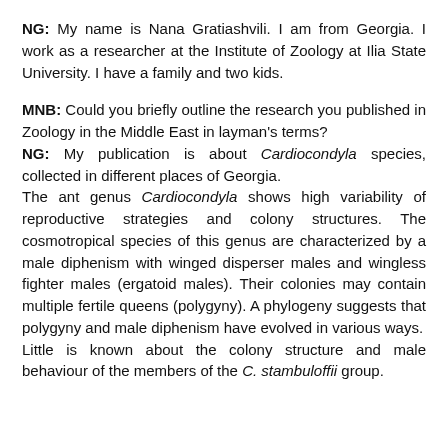NG: My name is Nana Gratiashvili. I am from Georgia. I work as a researcher at the Institute of Zoology at Ilia State University. I have a family and two kids.
MNB: Could you briefly outline the research you published in Zoology in the Middle East in layman's terms?
NG: My publication is about Cardiocondyla species, collected in different places of Georgia.
The ant genus Cardiocondyla shows high variability of reproductive strategies and colony structures. The cosmotropical species of this genus are characterized by a male diphenism with winged disperser males and wingless fighter males (ergatoid males). Their colonies may contain multiple fertile queens (polygyny). A phylogeny suggests that polygyny and male diphenism have evolved in various ways.
Little is known about the colony structure and male behaviour of the members of the C. stambuloffii group.